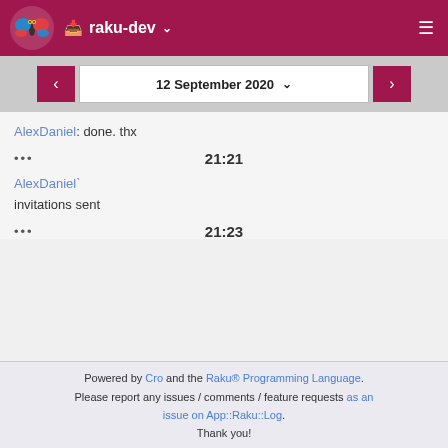raku-dev
12 September 2020
AlexDaniel: done. thx
... 21:21
AlexDaniel`
invitations sent
... 21:23
Powered by Cro and the Raku® Programming Language. Please report any issues / comments / feature requests as an issue on App::Raku::Log. Thank you!